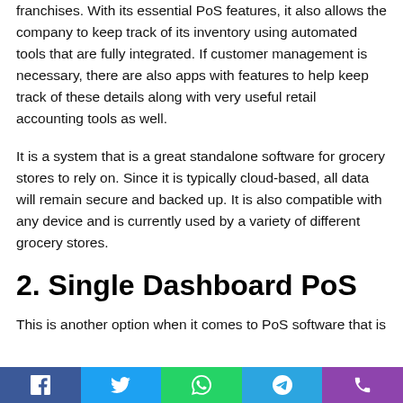franchises. With its essential PoS features, it also allows the company to keep track of its inventory using automated tools that are fully integrated. If customer management is necessary, there are also apps with features to help keep track of these details along with very useful retail accounting tools as well.
It is a system that is a great standalone software for grocery stores to rely on. Since it is typically cloud-based, all data will remain secure and backed up. It is also compatible with any device and is currently used by a variety of different grocery stores.
2. Single Dashboard PoS
This is another option when it comes to PoS software that is